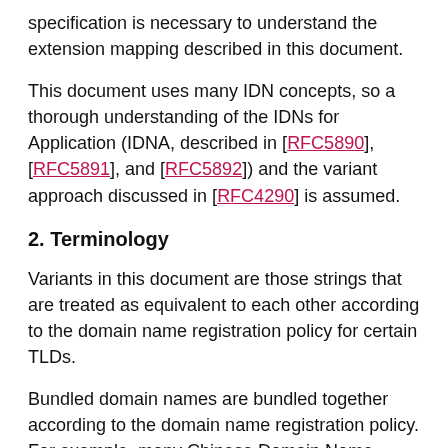specification is necessary to understand the extension mapping described in this document.
This document uses many IDN concepts, so a thorough understanding of the IDNs for Application (IDNA, described in [RFC5890], [RFC5891], and [RFC5892]) and the variant approach discussed in [RFC4290] is assumed.
2. Terminology
Variants in this document are those strings that are treated as equivalent to each other according to the domain name registration policy for certain TLDs.
Bundled domain names are bundled together according to the domain name registration policy. For example, many Chinese Domain Name registries follow the principle described in RFC 3743 [RFC3743]. Bundled domain names should belong to the same owner. If bundled domain names are under different TLDs, those TLDs should be managed by the same entity.